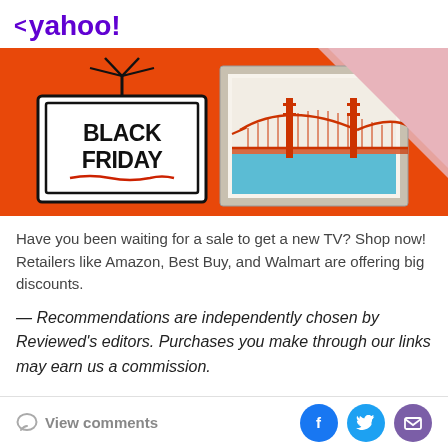< yahoo!
[Figure (illustration): Black Friday promotional banner on orange background with a Black Friday logo on the left (TV-shaped icon with BLACK FRIDAY text) and a framed artwork of the Golden Gate Bridge on the right. Pink triangle in the top-right corner.]
Have you been waiting for a sale to get a new TV? Shop now! Retailers like Amazon, Best Buy, and Walmart are offering big discounts.
— Recommendations are independently chosen by Reviewed's editors. Purchases you make through our links may earn us a commission.
Although Black Friday is officially over, Cyber Monday is
View comments  [Facebook] [Twitter] [Mail]